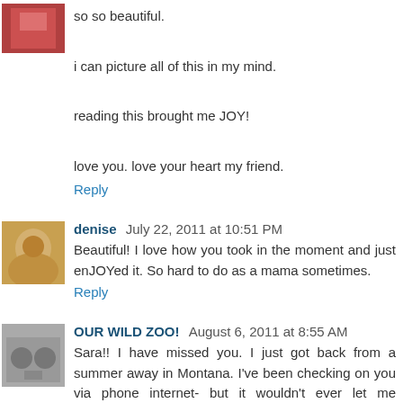so so beautiful.

i can picture all of this in my mind.

reading this brought me JOY!

love you. love your heart my friend.
Reply
denise  July 22, 2011 at 10:51 PM
Beautiful! I love how you took in the moment and just enJOYed it. So hard to do as a mama sometimes.
Reply
OUR WILD ZOO!  August 6, 2011 at 8:55 AM
Sara!! I have missed you. I just got back from a summer away in Montana. I've been checking on you via phone internet- but it wouldn't ever let me comment...
I say all that to say. I've missed you. Love your heart for...